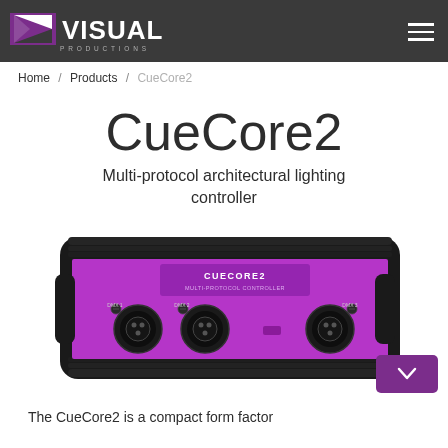Visual Productions — CueCore2
Home / Products / CueCore2
CueCore2
Multi-protocol architectural lighting controller
[Figure (photo): Photo of the CueCore2 hardware device — a black enclosure with purple/magenta front panel, showing three XLR connectors and labeled 'CUECORE2']
The CueCore2 is a compact form factor